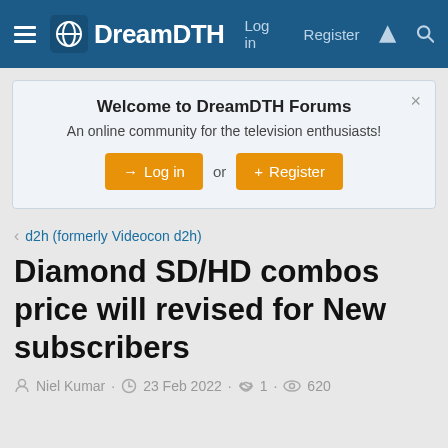DreamDTH — Log in  Register
Welcome to DreamDTH Forums
An online community for the television enthusiasts!
Log in  or  Register
d2h (formerly Videocon d2h)
Diamond SD/HD combos price will revised for New subscribers
Niel Kumar · 23 Feb 2022 · 1 · 620